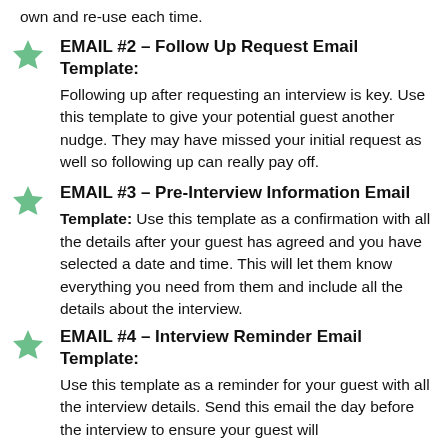own and re-use each time.
EMAIL #2 – Follow Up Request Email Template:
Following up after requesting an interview is key. Use this template to give your potential guest another nudge. They may have missed your initial request as well so following up can really pay off.
EMAIL #3 – Pre-Interview Information Email Template:
Use this template as a confirmation with all the details after your guest has agreed and you have selected a date and time. This will let them know everything you need from them and include all the details about the interview.
EMAIL #4 – Interview Reminder Email Template:
Use this template as a reminder for your guest with all the interview details. Send this email the day before the interview to ensure your guest will